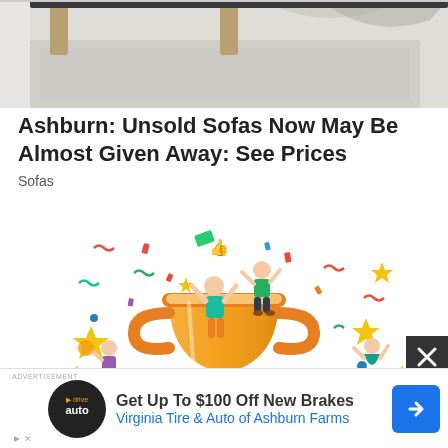[Figure (photo): Top portion of a sofa/furniture photo showing a gray rug and furniture legs]
Ashburn: Unsold Sofas Now May Be Almost Given Away: See Prices
Sofas
[Figure (illustration): Colorful celebration illustration featuring people holding up a large golden trophy cup with a #1 medallion, surrounded by confetti, stars, and streamers]
[Figure (screenshot): Advertisement banner: Get Up To $100 Off New Brakes. Virginia Tire & Auto of Ashburn Farms. Shows logo and blue arrow icon.]